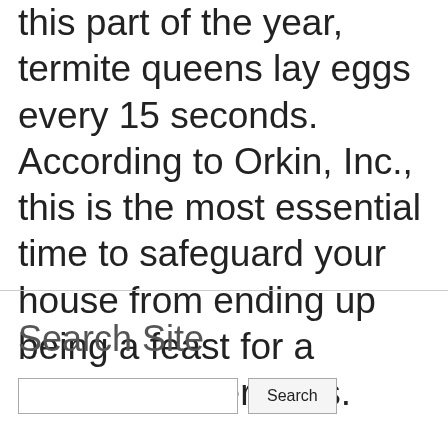this part of the year, termite queens lay eggs every 15 seconds. According to Orkin, Inc., this is the most essential time to safeguard your house from ending up being a feast for a kingdom of termites.
Search Site